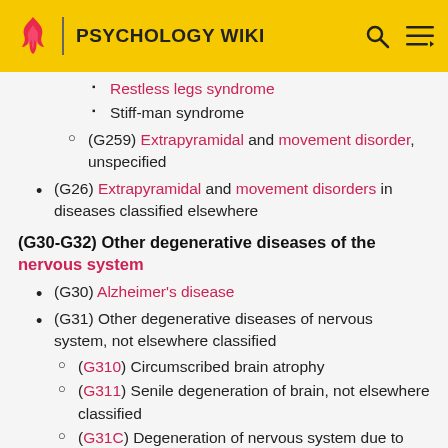PSYCHOLOGY WIKI
Restless legs syndrome
Stiff-man syndrome
(G259) Extrapyramidal and movement disorder, unspecified
(G26) Extrapyramidal and movement disorders in diseases classified elsewhere
(G30-G32) Other degenerative diseases of the nervous system
(G30) Alzheimer's disease
(G31) Other degenerative diseases of nervous system, not elsewhere classified
(G310) Circumscribed brain atrophy
(G311) Senile degeneration of brain, not elsewhere classified
(G31C) Degeneration of nervous system due to